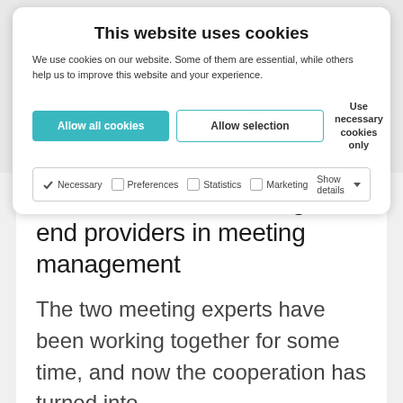This website uses cookies
We use cookies on our website. Some of them are essential, while others help us to improve this website and your experience.
Allow all cookies | Allow selection | Use necessary cookies only
✓ Necessary  Preferences  Statistics  Marketing  Show details
Proske and TROOP: High-end providers in meeting management
The two meeting experts have been working together for some time, and now the cooperation has turned into